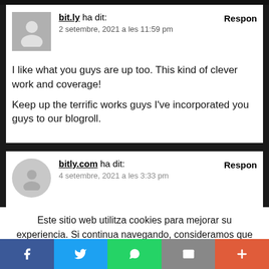bit.ly ha dit: 2 setembre, 2021 a les 11:59 pm — Respon
I like what you guys are up too. This kind of clever work and coverage! Keep up the terrific works guys I've incorporated you guys to our blogroll.
bitly.com ha dit: — Respon
Este sitio web utilitza cookies para mejorar su experiencia. Si continua navegando, consideramos que [Acepta] su uso.